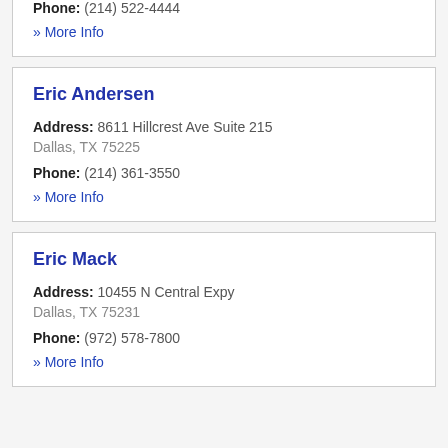Phone: (214) 522-4444
» More Info
Eric Andersen
Address: 8611 Hillcrest Ave Suite 215 Dallas, TX 75225
Phone: (214) 361-3550
» More Info
Eric Mack
Address: 10455 N Central Expy Dallas, TX 75231
Phone: (972) 578-7800
» More Info